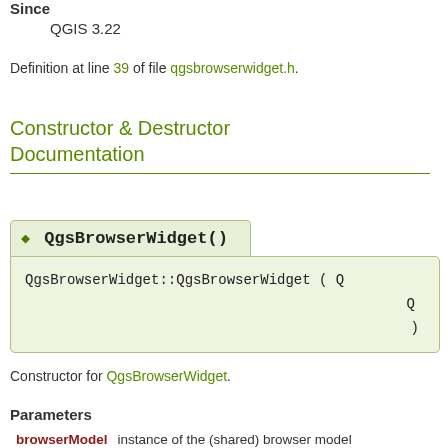Since
QGIS 3.22
Definition at line 39 of file qgsbrowserwidget.h.
Constructor & Destructor Documentation
◆ QgsBrowserWidget()
QgsBrowserWidget::QgsBrowserWidget ( Q
  Q
)
Constructor for QgsBrowserWidget.
Parameters
browserModel  instance of the (shared) browser model
parent  parent widget